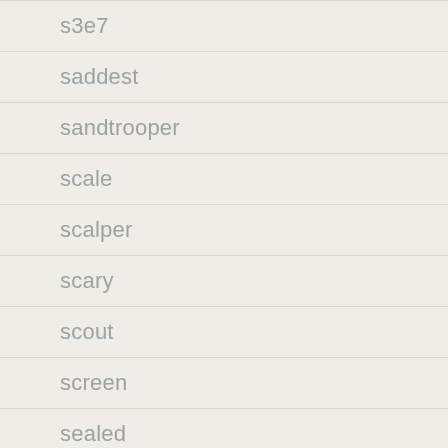s3e7
saddest
sandtrooper
scale
scalper
scary
scout
screen
sealed